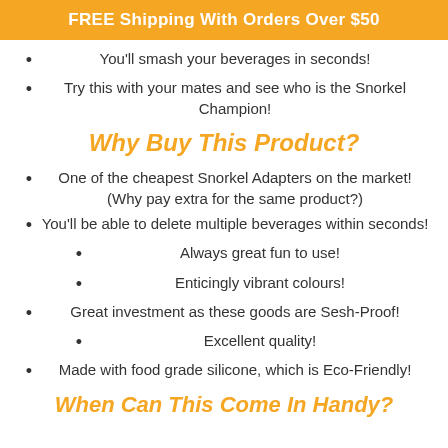FREE Shipping With Orders Over $50
You'll smash your beverages in seconds!
Try this with your mates and see who is the Snorkel Champion!
Why Buy This Product?
One of the cheapest Snorkel Adapters on the market! (Why pay extra for the same product?)
You'll be able to delete multiple beverages within seconds!
Always great fun to use!
Enticingly vibrant colours!
Great investment as these goods are Sesh-Proof!
Excellent quality!
Made with food grade silicone, which is Eco-Friendly!
When Can This Come In Handy?